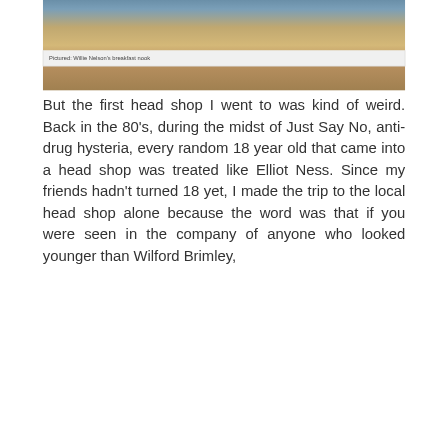[Figure (photo): Interior of a head shop showing glass pipes and colorful merchandise in display cases]
Pictured: Willie Nelson's breakfast nook
But the first head shop I went to was kind of weird. Back in the 80's, during the midst of Just Say No, anti-drug hysteria, every random 18 year old that came into a head shop was treated like Elliot Ness. Since my friends hadn't turned 18 yet, I made the trip to the local head shop alone because the word was that if you were seen in the company of anyone who looked younger than Wilford Brimley,